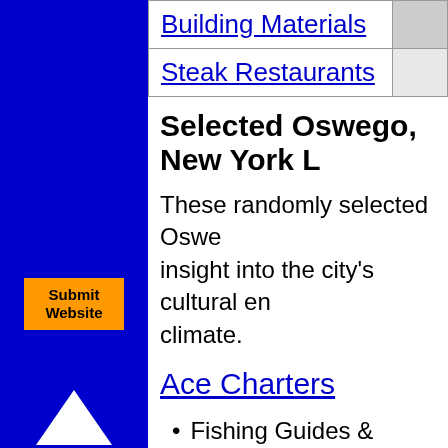| Building Materials | C... |
| Steak Restaurants |  |
[Figure (other): Submit Website orange button on blue sidebar]
[Figure (other): Up arrow (white triangle) on blue sidebar]
[Figure (other): Down arrow (white triangle) on blue sidebar]
Selected Oswego, New York L...
These randomly selected Oswe... insight into the city's cultural en... climate.
Ace Charters
Fishing Guides & Charters